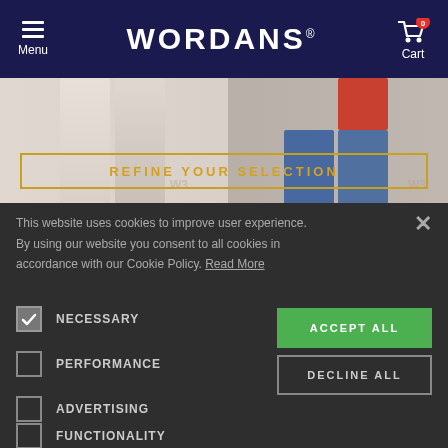WORDANS — Menu | Cart 0
[Figure (screenshot): Website banner showing clothing models, partially visible legs]
REFINE YOUR SELECTION
This website uses cookies to improve user experience. By using our website you consent to all cookies in accordance with our Cookie Policy. Read More
NECESSARY (checked)
PERFORMANCE
ADVERTISING
FUNCTIONALITY